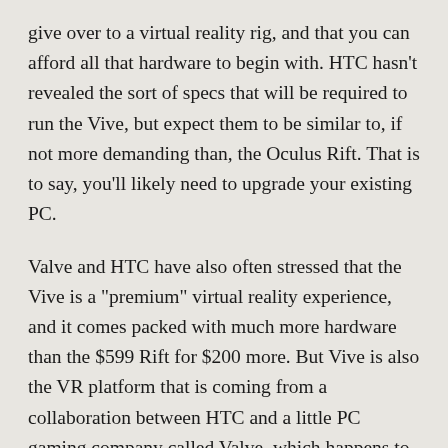give over to a virtual reality rig, and that you can afford all that hardware to begin with. HTC hasn't revealed the sort of specs that will be required to run the Vive, but expect them to be similar to, if not more demanding than, the Oculus Rift. That is to say, you'll likely need to upgrade your existing PC.
Valve and HTC have also often stressed that the Vive is a "premium" virtual reality experience, and it comes packed with much more hardware than the $599 Rift for $200 more. But Vive is also the VR platform that is coming from a collaboration between HTC and a little PC gaming company called Valve, which happens to own the most popular PC gaming storefront in the world. There is already a SteamVR listing in Steam, and Valve's near-ubiquity in the PC gaming space is a huge advantage.